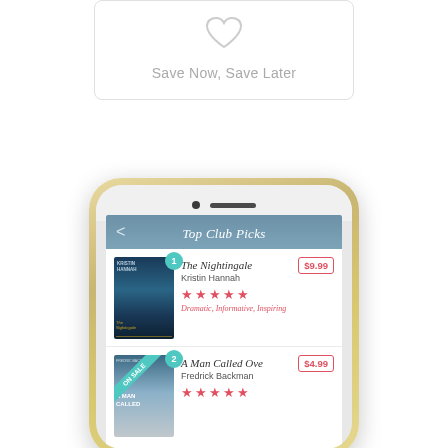[Figure (screenshot): Card with heart icon and text 'Save Now, Save Later']
[Figure (screenshot): iPhone mockup showing a book club app with 'Top Club Picks' screen listing: 1. The Nightingale by Kristin Hannah, rated 5 stars, tags Dramatic/Informative/Inspiring, $9.99; 2. A Man Called Ove by Fredrick Backman, ON SALE, $4.99]